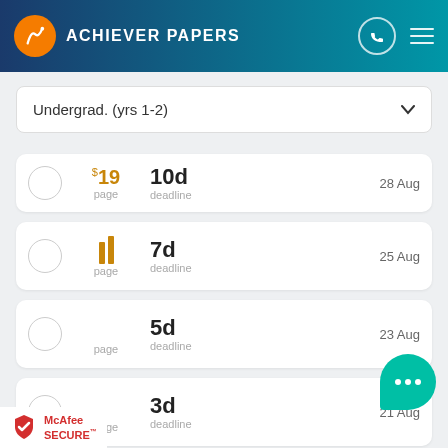Achiever Papers
Undergrad. (yrs 1-2)
$19 per page | 10d deadline | 28 Aug
page | 7d deadline | 25 Aug
page | 5d deadline | 23 Aug
page | 3d deadline | 21 Aug
page | 2d deadline | 20 Aug (partial)
[Figure (logo): McAfee SECURE badge at bottom left]